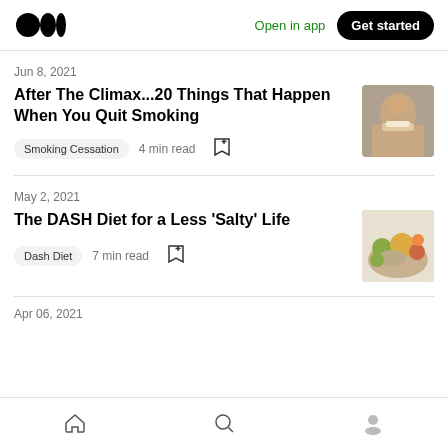Medium logo | Open in app | Get started
Jun 8, 2021
After The Climax...20 Things That Happen When You Quit Smoking
Smoking Cessation   4 min read
[Figure (photo): Man holding cigarette near his face]
May 2, 2021
The DASH Diet for a Less 'Salty' Life
Dash Diet   7 min read
[Figure (photo): Colorful food spread including vegetables and grains]
Apr 06, 2021